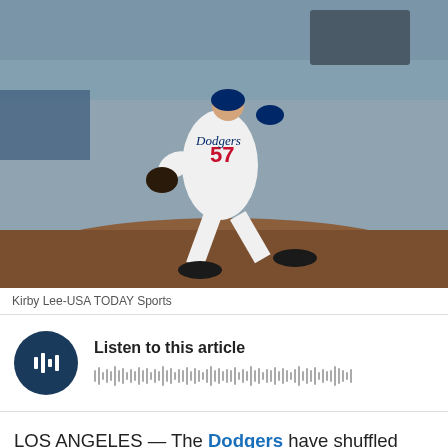[Figure (photo): Los Angeles Dodgers pitcher number 57 in white uniform in mid-pitch windup motion on the mound at night game]
Kirby Lee-USA TODAY Sports
[Figure (other): Audio player widget with dark blue circular play button and waveform, titled 'Listen to this article']
LOS ANGELES — The Dodgers have shuffled their rotation a bit with Rich Hill on the disabled list, and